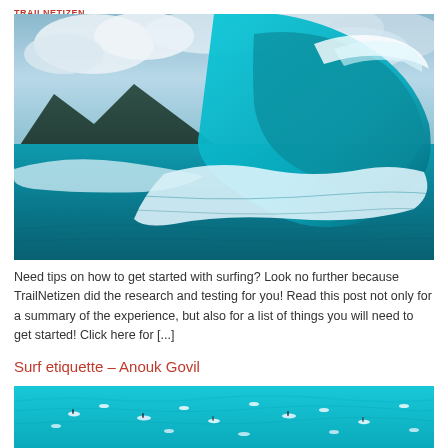TRAILNETIZEN
[Figure (photo): Large ocean wave curling with white foam, dark rocky mountains in background, vivid teal/blue water and dramatic cloudy sky]
Need tips on how to get started with surfing? Look no further because TrailNetizen did the research and testing for you! Read this post not only for a summary of the experience, but also for a list of things you will need to get started! Click here for [...]
Surf etiquette – Anouk Govil
[Figure (photo): Aerial view of many surfers in bright turquoise/teal ocean water with surfboards, seen from above]